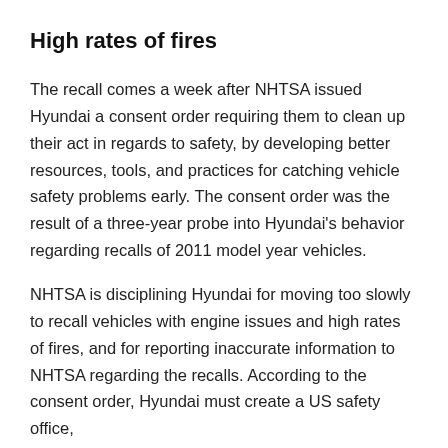High rates of fires
The recall comes a week after NHTSA issued Hyundai a consent order requiring them to clean up their act in regards to safety, by developing better resources, tools, and practices for catching vehicle safety problems early. The consent order was the result of a three-year probe into Hyundai's behavior regarding recalls of 2011 model year vehicles.
NHTSA is disciplining Hyundai for moving too slowly to recall vehicles with engine issues and high rates of fires, and for reporting inaccurate information to NHTSA regarding the recalls. According to the consent order, Hyundai must create a US safety office,